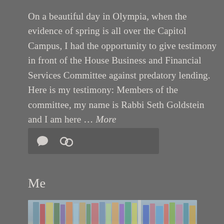On a beautiful day in Olympia, when the evidence of spring is all over the Capitol Campus, I had the opportunity to give testimony in front of the House Business and Financial Services Committee against predatory lending. Here is my testimony: Members of the committee, my name is Rabbi Seth Goldstein and I am here … More
[Figure (other): Icon bar with comment bubble icon and hyperlink/chain icon on a dark grey background]
Me
[Figure (photo): Blurred photo of a bookshelf with colorful books in white shelving unit]